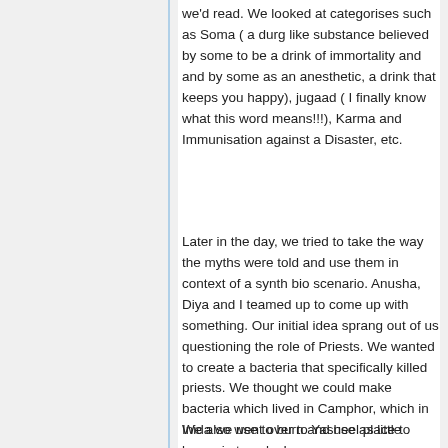we'd read. We looked at categorises such as Soma ( a durg like substance believed by some to be a drink of immortality and and by some as an anesthetic, a drink that keeps you happy), jugaad ( I finally know what this word means!!!), Karma and Immunisation against a Disaster, etc.
Later in the day, we tried to take the way the myths were told and use them in context of a synth bio scenario. Anusha, Diya and I teamed up to come up with something. Our initial idea sprang out of us questioning the role of Priests. We wanted to create a bacteria that specifically killed priests. We thought we could make bacteria which lived in Camphor, which in Inida we use to burn and use as little lamps in temples!
We also went over to Yasheel place to